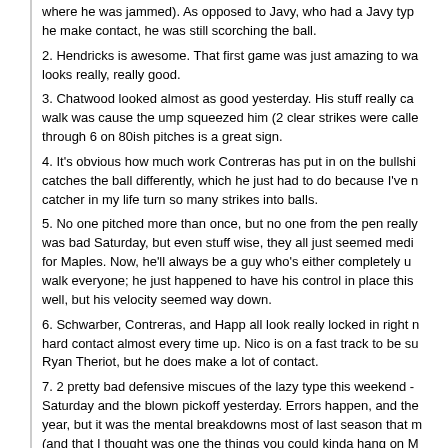where he was jammed). As opposed to Javy, who had a Javy type weekend. When he make contact, he was still scorching the ball.
2. Hendricks is awesome. That first game was just amazing to watch. He looks really, really good.
3. Chatwood looked almost as good yesterday. His stuff really can... walk was cause the ump squeezed him (2 clear strikes were calle... through 6 on 80ish pitches is a great sign.
4. It's obvious how much work Contreras has put in on the bullshi... catches the ball differently, which he just had to do because I've n... catcher in my life turn so many strikes into balls.
5. No one pitched more than once, but no one from the pen really... was bad Saturday, but even stuff wise, they all just seemed medi... for Maples. Now, he'll always be a guy who's either completely u... walk everyone; he just happened to have his control in place this... well, but his velocity seemed way down.
6. Schwarber, Contreras, and Happ all look really locked in right n... hard contact almost every time up. Nico is on a fast track to be su... Ryan Theriot, but he does make a lot of contact.
7. 2 pretty bad defensive miscues of the lazy type this weekend -... Saturday and the blown pickoff yesterday. Errors happen, and the... year, but it was the mental breakdowns most of last season that m... (and that I thought was one the things you could kinda hang on M... just didn't care about fundamentals). Those 2 were both bad sign... that for so many years really excelled in that area is still disappoi...
8. Heyward is still on the team.
15. Moses Taylor loves a good maim Posted: July 28, 2020 at 10:26 AM
Well, the bullpen continues to look like absolute ####, topped off... the absolute worst of the group (but also the only one who got mo... should have). It's only been a few games, but none of the new/yo...